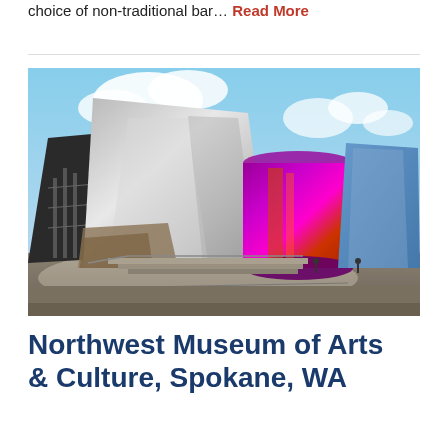choice of non-traditional bar… Read More
[Figure (photo): Exterior photograph of a colorful modern museum building with curved metallic panels in silver, magenta/purple, orange, and blue, under a partly cloudy sky. The building has an avant-garde Frank Gehry-style architecture with sweeping metallic forms and a curved plaza in the foreground.]
Northwest Museum of Arts & Culture, Spokane, WA